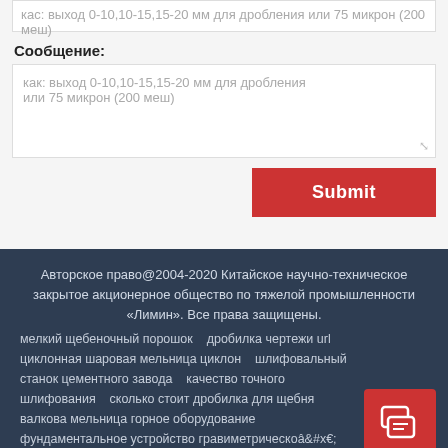кас: выход 0-10,10-15,15-20 мм для дробления или 75 микрон (200 меш)
Сообщение:
как: выход 0-10,10-15,15-20 мм для дробления или 75 микрон (200 меш)
Submit
Авторское право@2004-2020 Китайское научно-техническое закрытое акционерное общество по тяжелой промышленности «Лимин». Все права защищены. мелкий щебеночный порошок   дробилка чертежи url циклонная шаровая мельница циклон   шлифовальный станок цементного завода   качество точного шлифования   сколько стоит дробилка для щебня валкова мельница горное оборудование фундаментальное устройство гравиметрического рудника
Email:limingjlmofen@sina.com